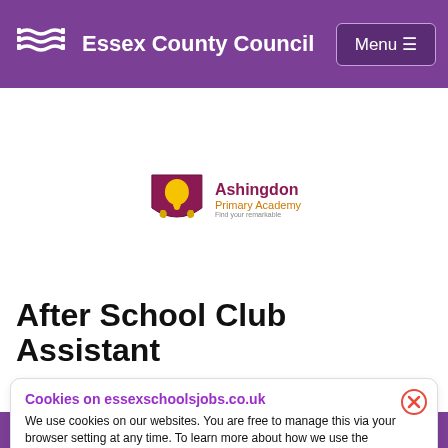Essex County Council
[Figure (logo): Ashingdon Primary Academy logo with shield and bell icon and tagline 'Find your remarkable']
After School Club Assistant
Cookies on essexschoolsjobs.co.uk
We use cookies on our websites. You are free to manage this via your browser setting at any time. To learn more about how we use the cookies, please see our cookie policy
Warning - This vacancy is now Closed!